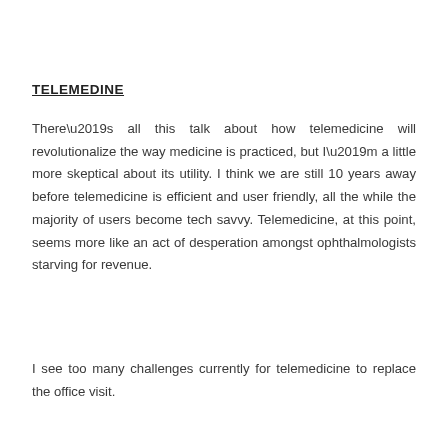TELEMEDINE
There’s all this talk about how telemedicine will revolutionalize the way medicine is practiced, but I’m a little more skeptical about its utility. I think we are still 10 years away before telemedicine is efficient and user friendly, all the while the majority of users become tech savvy. Telemedicine, at this point, seems more like an act of desperation amongst ophthalmologists starving for revenue.
I see too many challenges currently for telemedicine to replace the office visit.